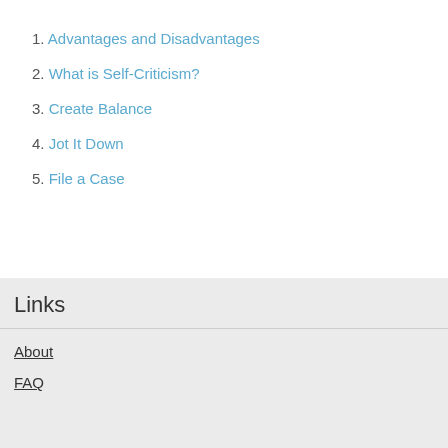1. Advantages and Disadvantages
2. What is Self-Criticism?
3. Create Balance
4. Jot It Down
5. File a Case
Links
About
FAQ